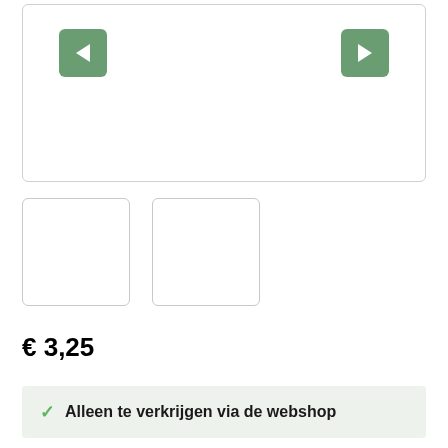[Figure (screenshot): Product image carousel with left and right green navigation arrow buttons on white background with rounded border]
[Figure (screenshot): Two product thumbnail images side by side, empty white boxes with light grey borders]
€ 3,25
✓ Alleen te verkrijgen via de webshop